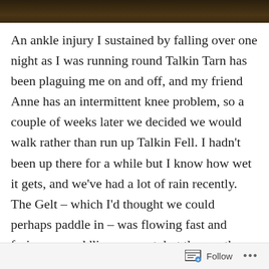[Figure (photo): Dark brown/green outdoor photo strip at the top of the page, appearing to show foliage or a natural landscape.]
An ankle injury I sustained by falling over one night as I was running round Talkin Tarn has been plaguing me on and off, and my friend Anne has an intermittent knee problem, so a couple of weeks later we decided we would walk rather than run up Talkin Fell. I hadn't been up there for a while but I know how wet it gets, and we've had a lot of rain recently. The Gelt – which I'd thought we could perhaps paddle in – was flowing fast and furious so paddling was out, but the weather was good and we walked up the track then up Simmerson Hill. On the ridge the wind was quite energetic, appealing to some basic instinct in me – I shouted out loud with joy – and we stopped briefly in the stone shelters on the top of Talkin Fell, but only briefly as it was cold. As it was such a lovely
Follow ...